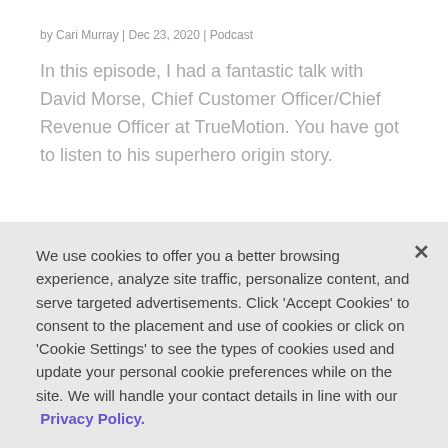by Cari Murray | Dec 23, 2020 | Podcast
In this episode, I had a fantastic talk with David Morse, Chief Customer Officer/Chief Revenue Officer at TrueMotion. You have got to listen to his superhero origin story.
We use cookies to offer you a better browsing experience, analyze site traffic, personalize content, and serve targeted advertisements. Click 'Accept Cookies' to consent to the placement and use of cookies or click on 'Cookie Settings' to see the types of cookies used and update your personal cookie preferences while on the site. We will handle your contact details in line with our Privacy Policy.